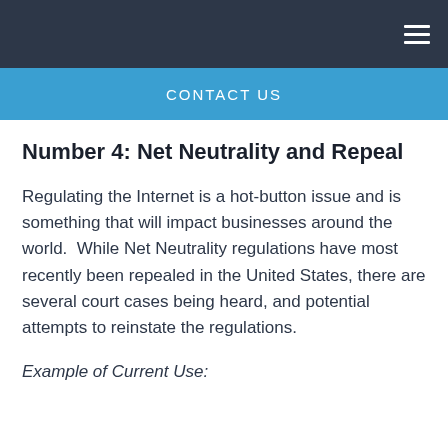CONTACT US
Number 4: Net Neutrality and Repeal
Regulating the Internet is a hot-button issue and is something that will impact businesses around the world.  While Net Neutrality regulations have most recently been repealed in the United States, there are several court cases being heard, and potential attempts to reinstate the regulations.
Example of Current Use: